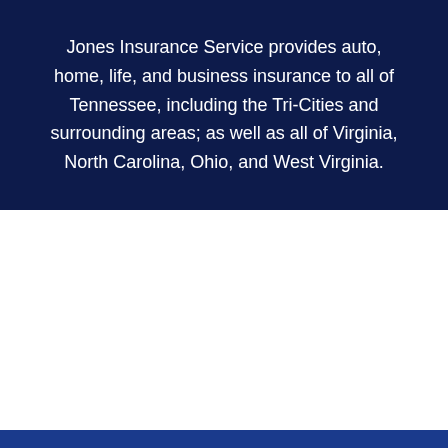Jones Insurance Service provides auto, home, life, and business insurance to all of Tennessee, including the Tri-Cities and surrounding areas; as well as all of Virginia, North Carolina, Ohio, and West Virginia.